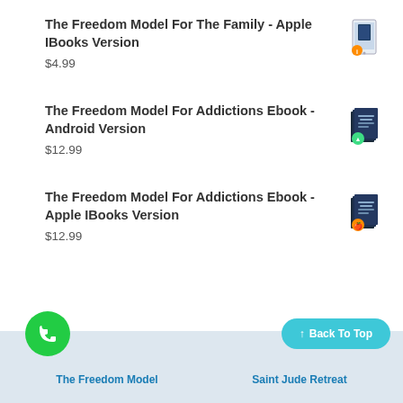The Freedom Model For The Family - Apple IBooks Version
$4.99
The Freedom Model For Addictions Ebook - Android Version
$12.99
The Freedom Model For Addictions Ebook - Apple IBooks Version
$12.99
The Freedom Model    Saint Jude Retreat